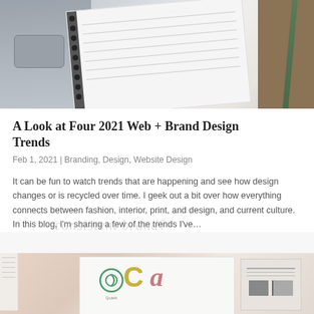[Figure (photo): Top-down photo of a laptop trackpad (silver), a spiral-bound notebook with pencil sketch lines, and a pencil on a brown surface]
A Look at Four 2021 Web + Brand Design Trends
Feb 1, 2021 | Branding, Design, Website Design
It can be fun to watch trends that are happening and see how design changes or is recycled over time. I geek out a bit over how everything connects between fashion, interior, print, and design, and current culture. In this blog, I'm sharing a few of the trends I've…
[Figure (photo): Photo of an open brand style guide book showing Quark, C, and a logos on a peach/tan background, with a card or panel on the right side]